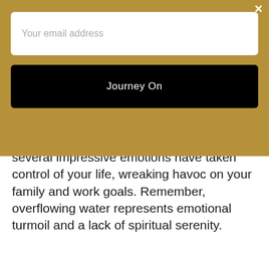Your email address
Journey On
several impressive emotions have taken control of your life, wreaking havoc on your family and work goals. Remember, overflowing water represents emotional turmoil and a lack of spiritual serenity.
[Figure (photo): Light gray rectangular image placeholder area at the bottom of the page]